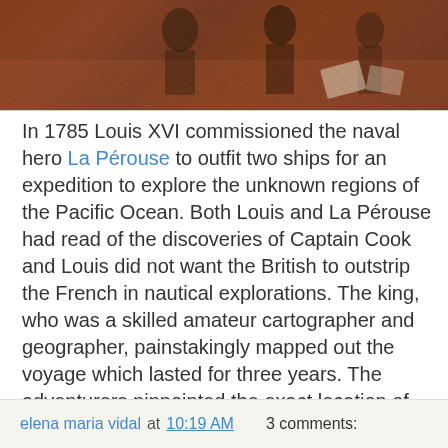[Figure (photo): A historical painting showing figures in period costume, with dark reddish-brown tones, appearing to depict a scene from the 18th century court or naval setting.]
In 1785 Louis XVI commissioned the naval hero La Pérouse to outfit two ships for an expedition to explore the unknown regions of the Pacific Ocean. Both Louis and La Pérouse had read of the discoveries of Captain Cook and Louis did not want the British to outstrip the French in nautical explorations. The king, who was a skilled amateur cartographer and geographer, painstakingly mapped out the voyage which lasted for three years. The adventurers pinpointed the exact location of previously unknown Pacific Islands. In 1788, however, La Pérouse and his men encountered cannibals and the crews of both frigates perished miserably. One man escaped with maps and charts so that the voyage was not in vain. The tragedy destroyed the theory of the philosophes that man in his primitive state was benign and peaceful. Here is an account of the voyage and the discoveries.
elena maria vidal at 10:19 AM    3 comments: